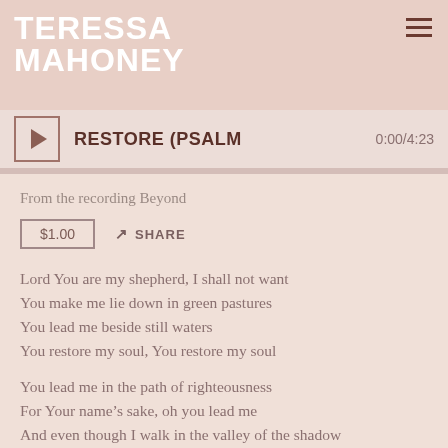TERESSA MAHONEY
RESTORE (PSALM   0:00/4:23
From the recording Beyond
$1.00   SHARE
Lord You are my shepherd, I shall not want
You make me lie down in green pastures
You lead me beside still waters
You restore my soul, You restore my soul
You lead me in the path of righteousness
For Your name’s sake, oh you lead me
And even though I walk in the valley of the shadow
I will fear no evil, for You are with me